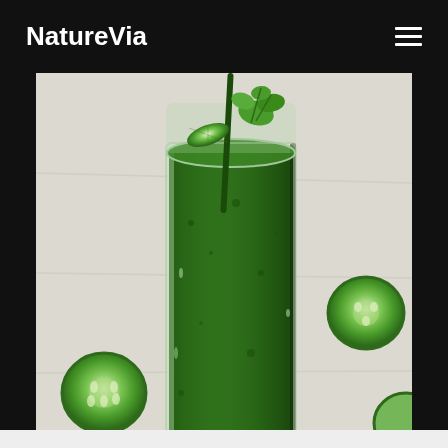NatureVia
[Figure (photo): A glass of green vegetable smoothie with cucumber slices, herbs, and a straw, placed on a light wooden surface surrounded by cucumber slices and green herbs.]
This website uses cookies to ensure you get the best experience on our website.
Learn more
ly: